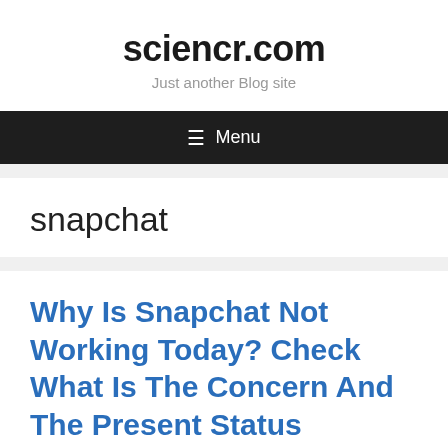sciencr.com
Just another Blog site
☰ Menu
snapchat
Why Is Snapchat Not Working Today? Check What Is The Concern And The Present Status